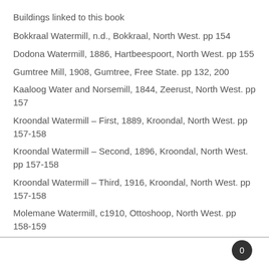Buildings linked to this book
Bokkraal Watermill, n.d., Bokkraal, North West. pp 154
Dodona Watermill, 1886, Hartbeespoort, North West. pp 155
Gumtree Mill, 1908, Gumtree, Free State. pp 132, 200
Kaaloog Water and Norsemill, 1844, Zeerust, North West. pp 157
Kroondal Watermill – First, 1889, Kroondal, North West. pp 157-158
Kroondal Watermill – Second, 1896, Kroondal, North West. pp 157-158
Kroondal Watermill – Third, 1916, Kroondal, North West. pp 157-158
Molemane Watermill, c1910, Ottoshoop, North West. pp 158-159
0